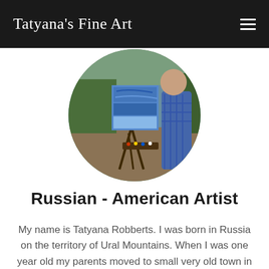Tatyana's Fine Art
[Figure (photo): Circular cropped photo of an artist painting outdoors on an easel near a body of water, with a blue painting in progress on the canvas. The artist is wearing a blue checked shirt.]
Russian - American Artist
My name is Tatyana Robberts. I was born in Russia on the territory of Ural Mountains. When I was one year old my parents moved to small very old town in central part of the country.  The Town, where I grew up, was founded in the year 1582. It is located on